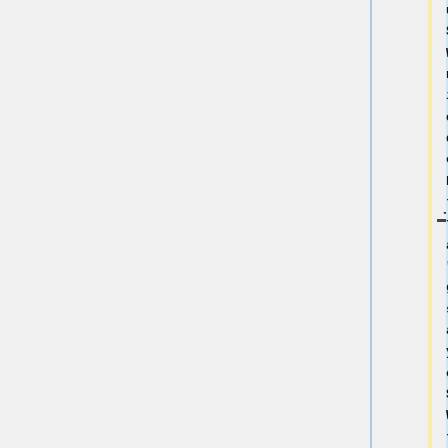using SSH/SCP via WiFi, you need to install SSH on the device. You can do this by executing the following in a shell: "sudo apt-get install ssh", afterwards you can connect via SSH/SCP via WiFi using the PinePhone's